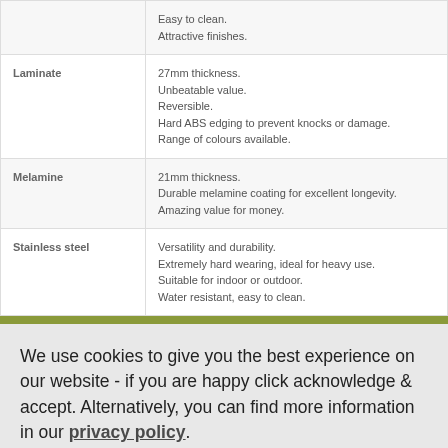| Material | Properties |
| --- | --- |
|  | Easy to clean.
Attractive finishes. |
| Laminate | 27mm thickness.
Unbeatable value.
Reversible.
Hard ABS edging to prevent knocks or damage.
Range of colours available. |
| Melamine | 21mm thickness.
Durable melamine coating for excellent longevity.
Amazing value for money. |
| Stainless steel | Versatility and durability.
Extremely hard wearing, ideal for heavy use.
Suitable for indoor or outdoor.
Water resistant, easy to clean. |
We use cookies to give you the best experience on our website - if you are happy click acknowledge & accept. Alternatively, you can find more information in our privacy policy.